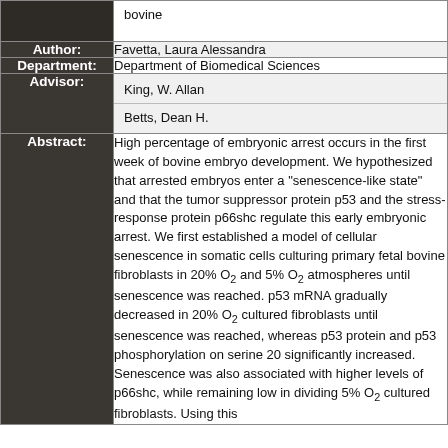| Field | Value |
| --- | --- |
|  | bovine |
| Author: | Favetta, Laura Alessandra |
| Department: | Department of Biomedical Sciences |
| Advisor: | King, W. Allan
Betts, Dean H. |
| Abstract: | High percentage of embryonic arrest occurs in the first week of bovine embryo development. We hypothesized that arrested embryos enter a "senescence-like state" and that the tumor suppressor protein p53 and the stress-response protein p66shc regulate this early embryonic arrest. We first established a model of cellular senescence in somatic cells culturing primary fetal bovine fibroblasts in 20% O2 and 5% O2 atmospheres until senescence was reached. p53 mRNA gradually decreased in 20% O2 cultured fibroblasts until senescence was reached, whereas p53 protein and p53 phosphorylation on serine 20 significantly increased. Senescence was also associated with higher levels of p66shc, while remaining low in dividing 5% O2 cultured fibroblasts. Using this |